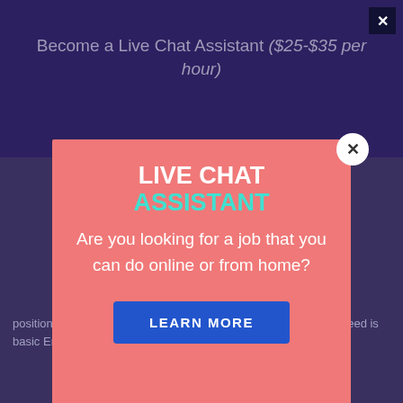Become a Live Chat Assistant ($25-$35 per hour)
Live chat assistants connect with customers online. The job is fully remote and requires basic English abilities and a Twitter account. You can work on remote or remote positions, meaning you log in online to do the work, and all you need is basic English abilities and a Twitter account.
[Figure (screenshot): Popup modal overlay with salmon/coral background. Title reads: LIVE CHAT ASSISTANT (LIVE CHAT in white bold, ASSISTANT in teal). Body text: Are you looking for a job that you can do online or from home? Blue button: LEARN MORE. Close button (X in circle) top right of modal.]